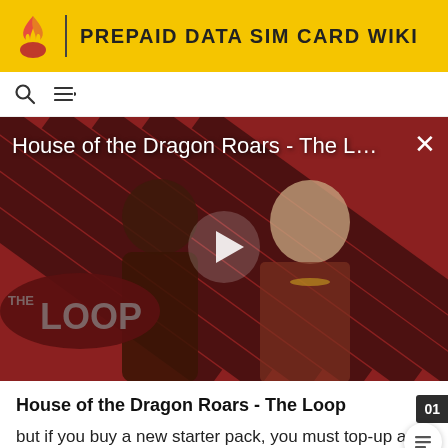PREPAID DATA SIM CARD WIKI
[Figure (screenshot): Video thumbnail showing House of the Dragon characters (armored warrior and young woman in period costume) against a diagonal stripe background in red and dark tones. 'THE LOOP' badge visible in lower left. Play button in center. Title overlay reads 'House of the Dragon Roars - The L...' with an X close button.]
House of the Dragon Roars - The Loop
but if you buy a new starter pack, you must top-up at least 5 zł to activate it.
All your current balance and future top-ups is converting